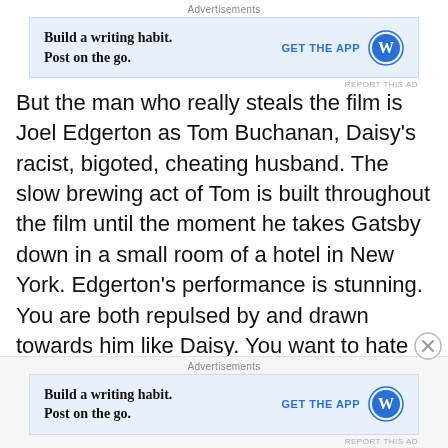[Figure (screenshot): Advertisement: Build a writing habit. Post on the go. GET THE APP with WordPress icon. Top ad banner.]
But the man who really steals the film is Joel Edgerton as Tom Buchanan, Daisy's racist, bigoted, cheating husband. The slow brewing act of Tom is built throughout the film until the moment he takes Gatsby down in a small room of a hotel in New York. Edgerton's performance is stunning. You are both repulsed by and drawn towards him like Daisy. You want to hate him but you know that in some small way that he is right about Gatsby, and you can't fault him for that. Everything else, sure, he is a douchebag 100%, but he is right about Gatsby, and Joel Edgerton
[Figure (screenshot): Advertisement: Build a writing habit. Post on the go. GET THE APP with WordPress icon. Bottom ad banner.]